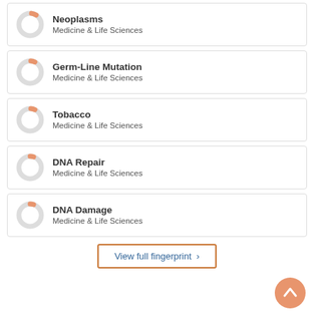Neoplasms
Medicine & Life Sciences
Germ-Line Mutation
Medicine & Life Sciences
Tobacco
Medicine & Life Sciences
DNA Repair
Medicine & Life Sciences
DNA Damage
Medicine & Life Sciences
View full fingerprint >